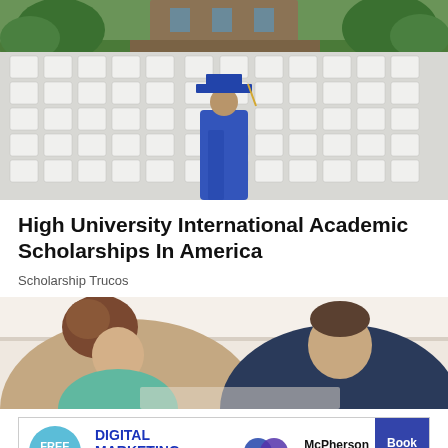[Figure (photo): Graduation ceremony photo: lone graduate in blue cap and gown sitting in rows of empty white chairs on a lawn in front of a university building]
High University International Academic Scholarships In America
Scholarship Trucos
[Figure (photo): Two people, a woman and a man, studying together, looking down at something]
[Figure (other): Advertisement banner: FREE EVENT | DIGITAL MARKETING SUMMIT 2022 | McPherson Media Group | Book Now]